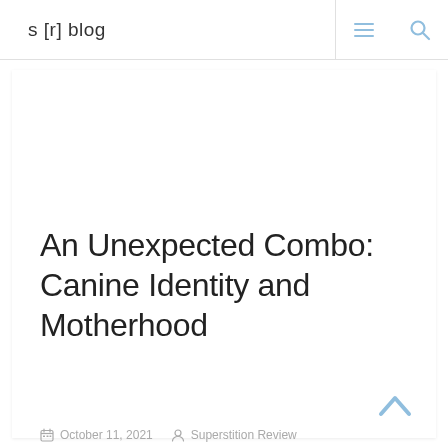s [r] blog
An Unexpected Combo: Canine Identity and Motherhood
October 11, 2021   Superstition Review